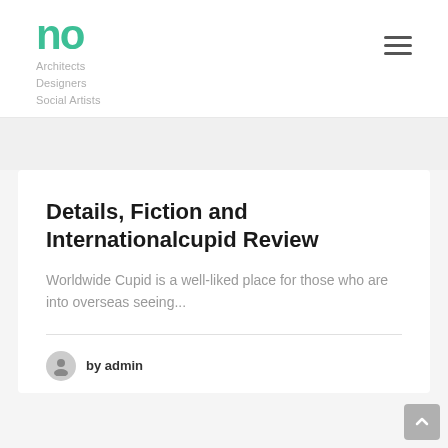no Architects Designers Social Artists
Details, Fiction and Internationalcupid Review
Worldwide Cupid is a well-liked place for those who are into overseas seeing...
by admin